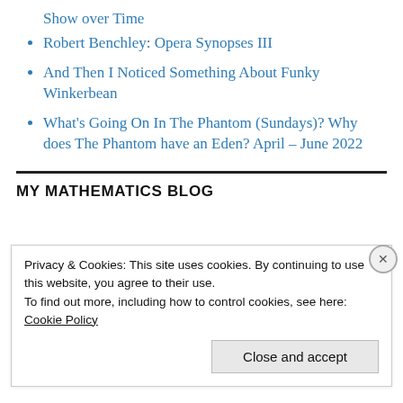Show over Time
Robert Benchley: Opera Synopses III
And Then I Noticed Something About Funky Winkerbean
What's Going On In The Phantom (Sundays)? Why does The Phantom have an Eden? April – June 2022
MY MATHEMATICS BLOG
Privacy & Cookies: This site uses cookies. By continuing to use this website, you agree to their use.
To find out more, including how to control cookies, see here:
Cookie Policy
Close and accept